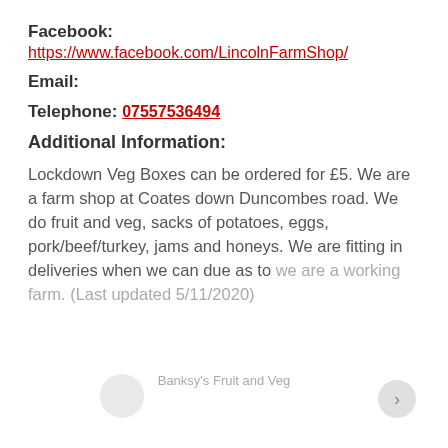Facebook: https://www.facebook.com/LincolnFarmShop/
Email:
Telephone: 07557536494
Additional Information:
Lockdown Veg Boxes can be ordered for £5. We are a farm shop at Coates down Duncombes road. We do fruit and veg, sacks of potatoes, eggs, pork/beef/turkey, jams and honeys. We are fitting in deliveries when we can due as to we are a working farm. (Last updated 5/11/2020)
Banksy's Fruit and Veg